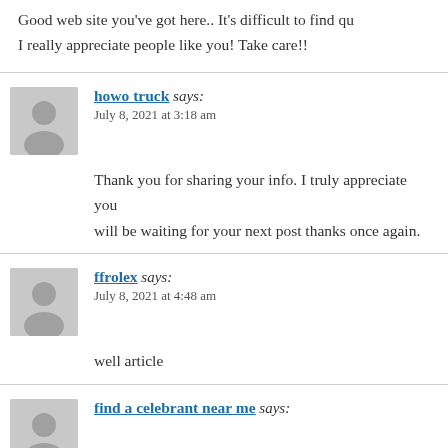Good web site you've got here.. It's difficult to find qu… I really appreciate people like you! Take care!!
howo truck says: July 8, 2021 at 3:18 am
Thank you for sharing your info. I truly appreciate you… will be waiting for your next post thanks once again.
ffrolex says: July 8, 2021 at 4:48 am
well article
find a celebrant near me says: